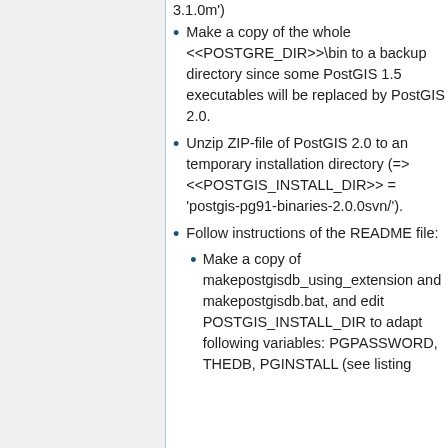3.1.0m')
Make a copy of the whole <<POSTGRE_DIR>>\bin to a backup directory since some PostGIS 1.5 executables will be replaced by PostGIS 2.0.
Unzip ZIP-file of PostGIS 2.0 to an temporary installation directory (=> <<POSTGIS_INSTALL_DIR>> = 'postgis-pg91-binaries-2.0.0svn/').
Follow instructions of the README file:
Make a copy of makepostgisdb_using_extension and makepostgisdb.bat, and edit POSTGIS_INSTALL_DIR to adapt following variables: PGPASSWORD, THEDB, PGINSTALL (see listing